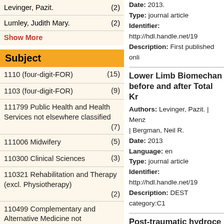Levinger, Pazit. (2)
Lumley, Judith Mary. (2)
Show More
Subject
1110 (four-digit-FOR) (15)
1103 (four-digit-FOR) (9)
111799 Public Health and Health Services not elsewhere classified (7)
111006 Midwifery (5)
110300 Clinical Sciences (3)
110321 Rehabilitation and Therapy (excl. Physiotherapy) (2)
110499 Complementary and Alternative Medicine not elsewhere classified
Date: 2013. Type: journal article Identifier: http://hdl.handle.net/19 Description: First published onli
Lower Limb Biomechan before and after Total Kr
Authors: Levinger, Pazit. | Menz | Bergman, Neil R. Date: 2013 Language: en Type: journal article Identifier: http://hdl.handle.net/19 Description: DEST category:C1
Post-traumatic hydroce Singaporean neurosurgi
Date: 2013. Type: journal article Identifier: http://hdl.handle.net/19
Identifying and support postnatal period : evalua